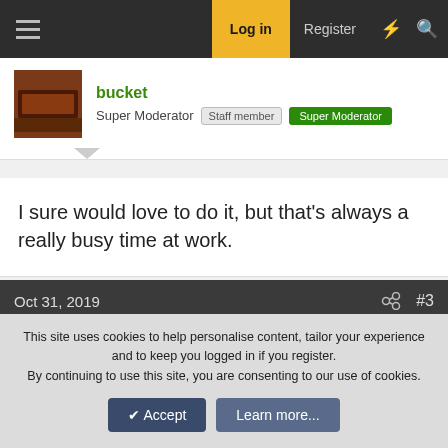Log in  Register
bucket
Super Moderator  Staff member  Super Moderator
I sure would love to do it, but that's always a really busy time at work.
Oct 31, 2019  #3
Shorty81
Baby Boomer
I run with the power your last June. Did the last leg to
This site uses cookies to help personalise content, tailor your experience and to keep you logged in if you register.
By continuing to use this site, you are consenting to our use of cookies.